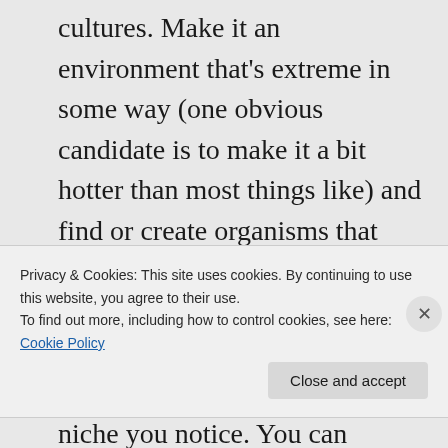cultures. Make it an environment that's extreme in some way (one obvious candidate is to make it a bit hotter than most things like) and find or create organisms that survive well there and which are not poisonous. As much as possible find vigorous organisms for each ecological niche you notice. You can evolve them in situ, the longer they spend in the particular environment
Privacy & Cookies: This site uses cookies. By continuing to use this website, you agree to their use.
To find out more, including how to control cookies, see here: Cookie Policy